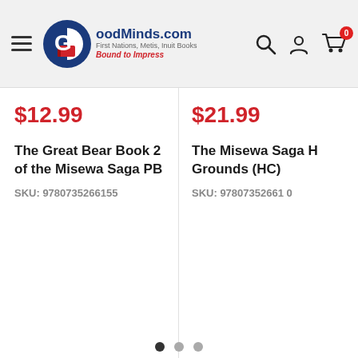GoodMinds.com — First Nations, Metis, Inuit Books, Bound to Impress
$12.99
The Great Bear Book 2 of the Misewa Saga PB
SKU: 9780735266155
$21.99
The Misewa Saga Hunting Grounds (HC)
SKU: 97807352661…
[Figure (illustration): Box/package icon representing shipping]
Flat rate shipping
$10 for all personal orders